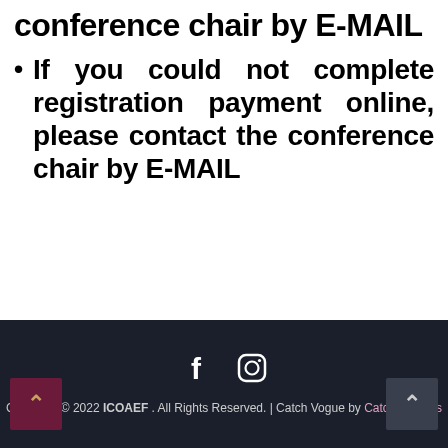conference chair by E-MAIL
If you could not complete registration payment online, please contact the conference chair by E-MAIL
Copyright © 2022 ICOAEF . All Rights Reserved. | Catch Vogue by Catch Themes